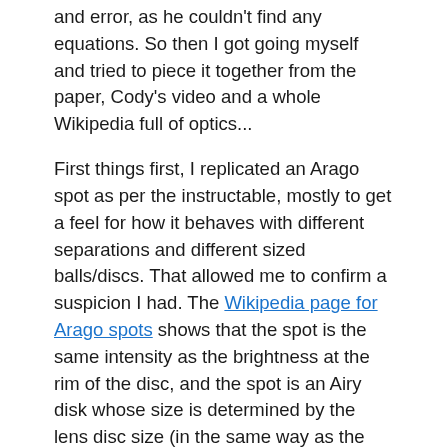and error, as he couldn't find any equations. So then I got going myself and tried to piece it together from the paper, Cody's video and a whole Wikipedia full of optics...
First things first, I replicated an Arago spot as per the instructable, mostly to get a feel for how it behaves with different separations and different sized balls/discs. That allowed me to confirm a suspicion I had. The Wikipedia page for Arago spots shows that the spot is the same intensity as the brightness at the rim of the disc, and the spot is an Airy disk whose size is determined by the lens disc size (in the same way as the diffraction limit of the circular aperture of a telescope). So the peak intensity is independent of disc diameter but the larger the lens disc the smaller the Airy disk, so larger lens discs ‘focus’ less total light onto the image plane. Therefore going very large with the disc will give very little light at all, but going small gives low resolution. The image is an extended set of Arago spots from each ‘point source’ in the image plane, which are always formed,